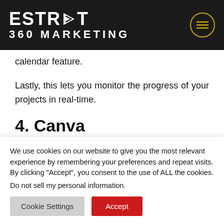ESTRAT 360 MARKETING
calendar feature.
Lastly, this lets you monitor the progress of your projects in real-time.
4. Canva
We use cookies on our website to give you the most relevant experience by remembering your preferences and repeat visits. By clicking “Accept”, you consent to the use of ALL the cookies.
Do not sell my personal information.